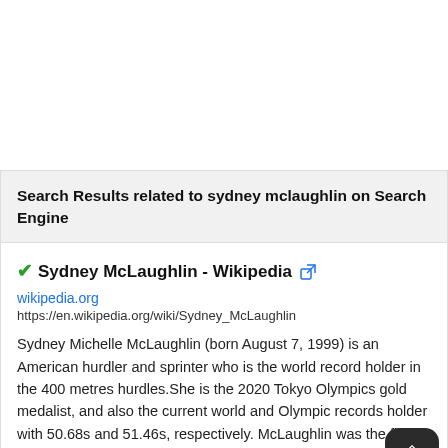Search Results related to sydney mclaughlin on Search Engine
✔Sydney McLaughlin - Wikipedia 🔗
wikipedia.org
https://en.wikipedia.org/wiki/Sydney_McLaughlin
Sydney Michelle McLaughlin (born August 7, 1999) is an American hurdler and sprinter who is the world record holder in the 400 metres hurdles.She is the 2020 Tokyo Olympics gold medalist, and also the current world and Olympic records holder with 50.68s and 51.46s, respectively. McLaughlin was the first woman to break 52 seconds in the 400 m hurdles when she set a